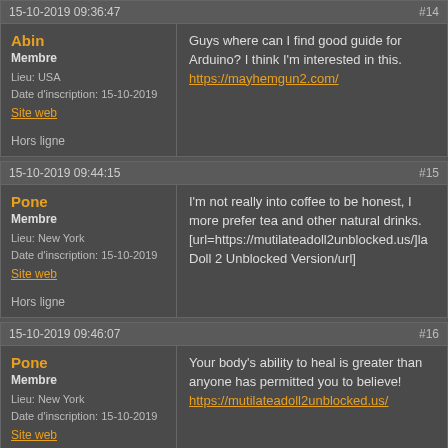15-10-2019 09:36:47 #14
Abin
Membre
Lieu: USA
Date d'inscription: 15-10-2019
Site web
Hors ligne
Guys where can I find good guide for Arduino? I think I'm interested in this.
https://mayhemgun2.com/
15-10-2019 09:44:15 #15
Pone
Membre
Lieu: New York
Date d'inscription: 15-10-2019
Site web
Hors ligne
I'm not really into coffee to be honest, I more prefer tea and other natural drinks.
[url=https://mutilateadoll2unblocked.us/]la Doll 2 Unblocked Version/url]
15-10-2019 09:46:07 #16
Pone
Membre
Lieu: New York
Date d'inscription: 15-10-2019
Site web
Hors ligne
Your body's ability to heal is greater than anyone has permitted you to believe!
https://mutilateadoll2unblocked.us/